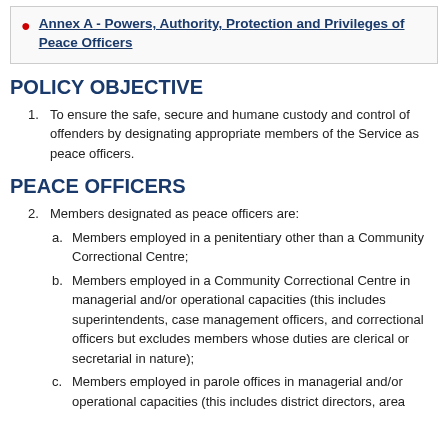Annex A - Powers, Authority, Protection and Privileges of Peace Officers
POLICY OBJECTIVE
1. To ensure the safe, secure and humane custody and control of offenders by designating appropriate members of the Service as peace officers.
PEACE OFFICERS
2. Members designated as peace officers are:
a. Members employed in a penitentiary other than a Community Correctional Centre;
b. Members employed in a Community Correctional Centre in managerial and/or operational capacities (this includes superintendents, case management officers, and correctional officers but excludes members whose duties are clerical or secretarial in nature);
c. Members employed in parole offices in managerial and/or operational capacities (this includes district directors, area